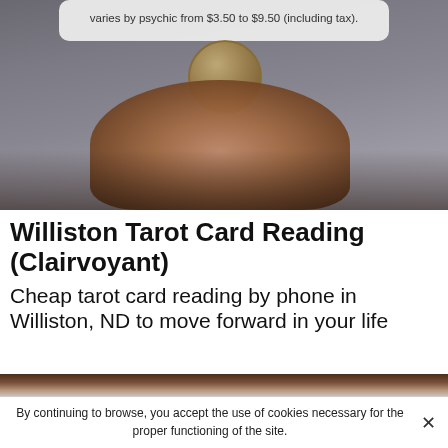varies by psychic from $3.50 to $9.50 (including tax).
[Figure (photo): A hand holding a coin/tarot-related object against a blurred background]
Williston Tarot Card Reading (Clairvoyant)
Cheap tarot card reading by phone in Williston, ND to move forward in your life
[Figure (photo): Close-up of a hand, partial view]
By continuing to browse, you accept the use of cookies necessary for the proper functioning of the site.